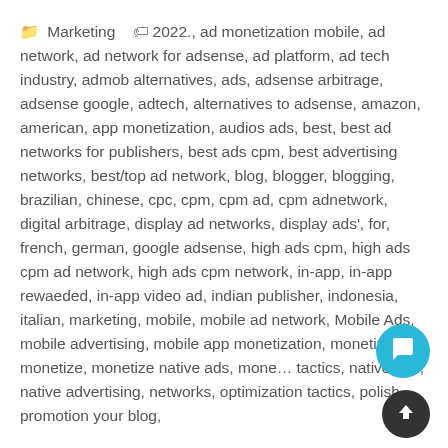Marketing  2022., ad monetization mobile, ad network, ad network for adsense, ad platform, ad tech industry, admob alternatives, ads, adsense arbitrage, adsense google, adtech, alternatives to adsense, amazon, american, app monetization, audios ads, best, best ad networks for publishers, best ads cpm, best advertising networks, best/top ad network, blog, blogger, blogging, brazilian, chinese, cpc, cpm, cpm ad, cpm adnetwork, digital arbitrage, display ad networks, display ads', for, french, german, google adsense, high ads cpm, high ads cpm ad network, high ads cpm network, in-app, in-app rewaeded, in-app video ad, indian publisher, indonesia, italian, marketing, mobile, mobile ad network, Mobile Ads, mobile advertising, mobile app monetization, monetization, monetize, monetize native ads, mone... tactics, native ads, native advertising, networks, optimization tactics, polish, promotion your blog,